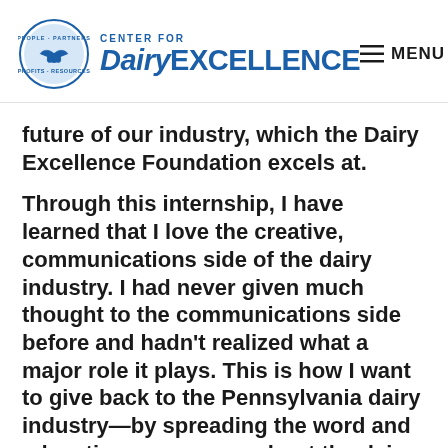[Figure (logo): Center for Dairy Excellence logo with circular emblem showing handshake and text People, Partners, Resources, Profits around the edge, alongside the text CENTER FOR Dairy EXCELLENCE]
≡ MENU
future of our industry, which the Dairy Excellence Foundation excels at.
Through this internship, I have learned that I love the creative, communications side of the dairy industry. I had never given much thought to the communications side before and hadn't realized what a major role it plays. This is how I want to give back to the Pennsylvania dairy industry—by spreading the word and educating consumers about the dairy industry as well as showing farmers what resources are available. We live in a digital age where email and social media are considerable tools that the dairy